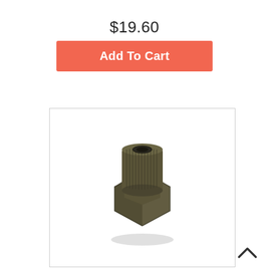$19.60
Add To Cart
[Figure (photo): A dark olive/bronze colored freewheel removal tool (cassette lockring remover) with splined top and hexagonal base, photographed on white background.]